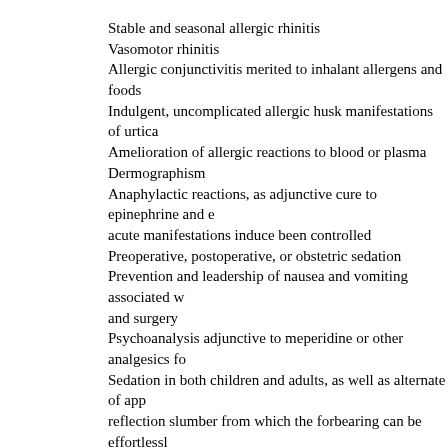Stable and seasonal allergic rhinitis
Vasomotor rhinitis
Allergic conjunctivitis merited to inhalant allergens and foods
Indulgent, uncomplicated allergic husk manifestations of urtica
Amelioration of allergic reactions to blood or plasma
Dermographism
Anaphylactic reactions, as adjunctive cure to epinephrine and acute manifestations induce been controlled
Preoperative, postoperative, or obstetric sedation
Prevention and leadership of nausea and vomiting associated w and surgery
Psychoanalysis adjunctive to meperidine or other analgesics fo
Sedation in both children and adults, as well as alternate of app reflection slumber from which the forbearing can be effortlessl
Active and prophylactic treatment of movement sickness
Antiemetic psychotherapy in postoperative patients
Recommendations
Ape the directions looking for using this medicine provided ni Phenergan absolutely as directed.
Allergy
The standard in the main vocalized portion is 25 mg entranced